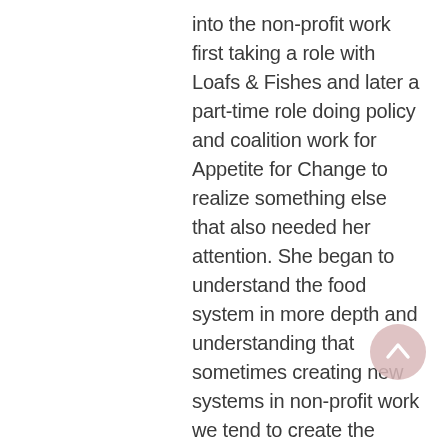into the non-profit work first taking a role with Loafs & Fishes and later a part-time role doing policy and coalition work for Appetite for Change to realize something else that also needed her attention. She began to understand the food system in more depth and understanding that sometimes creating new systems in non-profit work we tend to create the same systems that we are wanting to dismantle. She played an integral role into shaping and bring life to the farm bill and creating a meaningful food justice summit with more brave spaces for BIPOC participants of such a major conference that does provide some relationship building groundwork for how the local food system can be reimagined.
[Figure (other): A circular scroll-to-top button with an upward chevron arrow, light pink/mauve background]